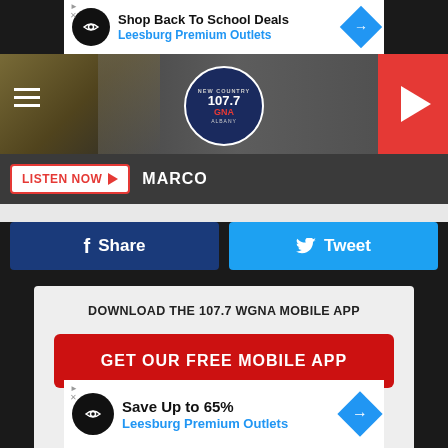[Figure (screenshot): Top advertisement banner for Leesburg Premium Outlets: Shop Back To School Deals]
[Figure (logo): 107.7 GNA New Country Albany radio station header with hamburger menu, logo circle, and red play button]
LISTEN NOW ►  MARCO
f  Share
🐦  Tweet
DOWNLOAD THE 107.7 WGNA MOBILE APP
GET OUR FREE MOBILE APP
Also listen on:  amazon alexa
[Figure (screenshot): Bottom advertisement banner for Leesburg Premium Outlets: Save Up to 65%]